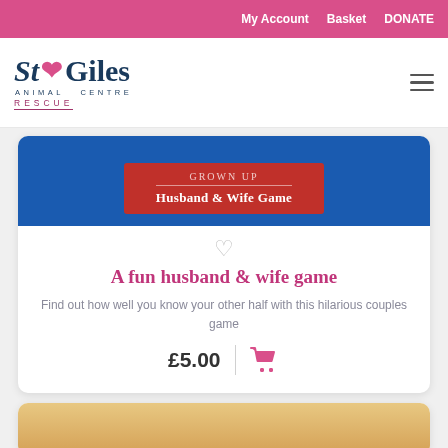My Account  Basket  DONATE
[Figure (logo): St Giles Animal Centre Rescue logo with paw print]
[Figure (photo): Product image showing a red box labeled Husband & Wife Game on a blue background]
A fun husband & wife game
Find out how well you know your other half with this hilarious couples game
£5.00
[Figure (photo): Partial view of a second product with tan/beige packaging]